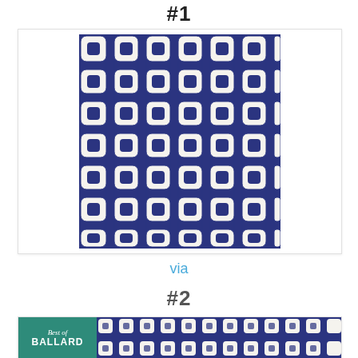#1
[Figure (photo): Navy blue and white geometric trellis/lattice pattern rug with repeating quatrefoil shapes in dark navy on white background]
via
#2
[Figure (photo): Second rug product image partially shown with a 'Best of Ballard' green badge overlay and navy geometric trellis pattern similar to item #1]